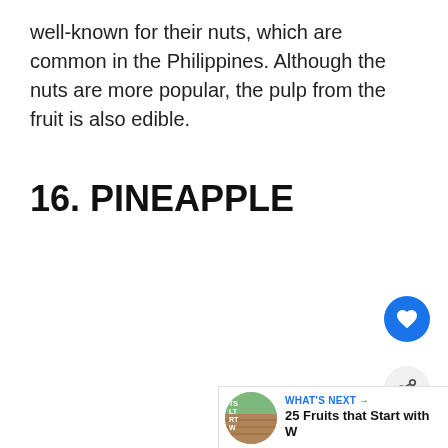well-known for their nuts, which are common in the Philippines. Although the nuts are more popular, the pulp from the fruit is also edible.
16. PINEAPPLE
[Figure (infographic): Heart/like button (blue circle with heart icon) and share button (light grey circle with share icon) on the right side of the page]
[Figure (screenshot): What's Next widget showing a thumbnail image and text: WHAT'S NEXT → 25 Fruits that Start with W]